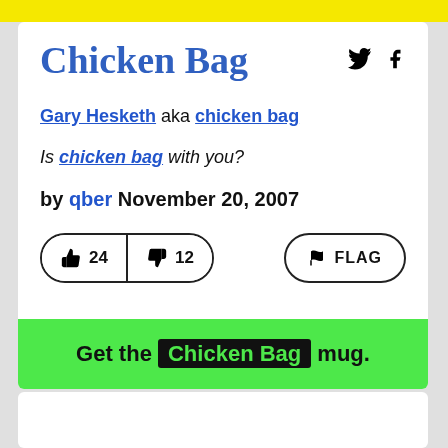Chicken Bag
Gary Hesketh aka chicken bag
Is chicken bag with you?
by qber November 20, 2007
👍 24  👎 12  🚩 FLAG
Get the Chicken Bag mug.